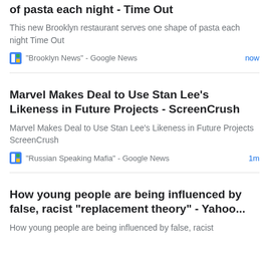of pasta each night - Time Out
This new Brooklyn restaurant serves one shape of pasta each night  Time Out
"Brooklyn News" - Google News  now
Marvel Makes Deal to Use Stan Lee's Likeness in Future Projects - ScreenCrush
Marvel Makes Deal to Use Stan Lee's Likeness in Future Projects  ScreenCrush
"Russian Speaking Mafia" - Google News  1m
How young people are being influenced by false, racist "replacement theory" - Yahoo...
How young people are being influenced by false, racist